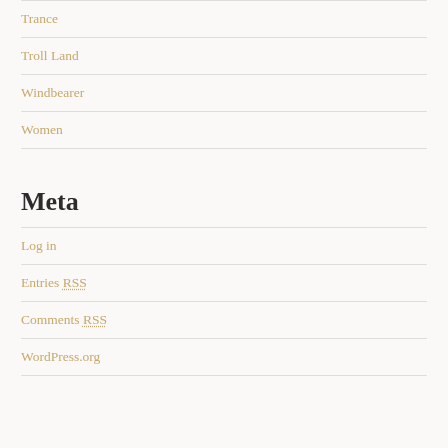Trance
Troll Land
Windbearer
Women
Meta
Log in
Entries RSS
Comments RSS
WordPress.org